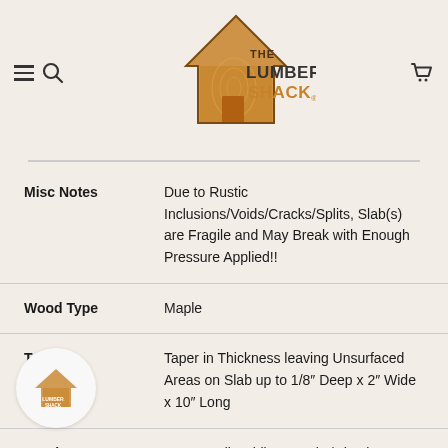The Lumber Shack
| Attribute | Value |
| --- | --- |
| Misc Notes | Due to Rustic Inclusions/Voids/Cracks/Splits, Slab(s) are Fragile and May Break with Enough Pressure Applied!! |
| Wood Type | Maple |
| Tapers | Taper in Thickness leaving Unsurfaced Areas on Slab up to 1/8" Deep x 2" Wide x 10" Long |
| Cracks | Very Small Hairline Cracks/Checks |